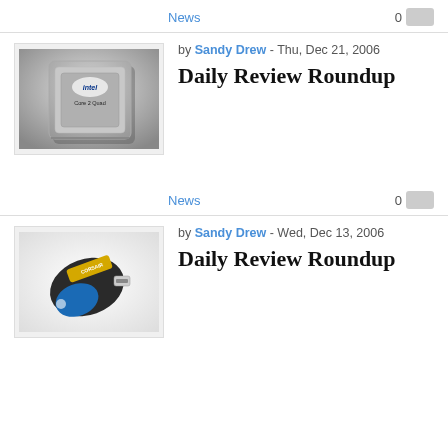News
[Figure (photo): Intel Core 2 Quad processor chip on gray background]
by Sandy Drew - Thu, Dec 21, 2006
Daily Review Roundup
News
[Figure (photo): Corsair USB flash drive with yellow label and blue grip on white background]
by Sandy Drew - Wed, Dec 13, 2006
Daily Review Roundup